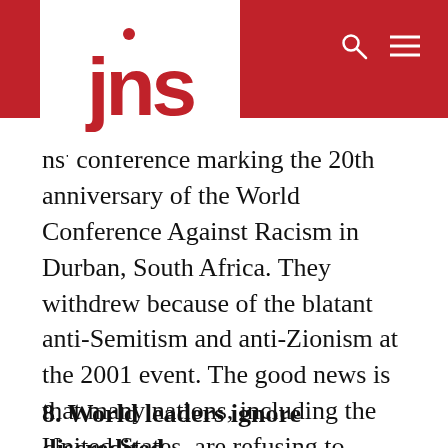jns
ns' conference marking the 20th anniversary of the World Conference Against Racism in Durban, South Africa. They withdrew because of the blatant anti-Semitism and anti-Zionism at the 2001 event. The good news is that many nations, including the United States, are refusing to participate in the worst international celebrations of anti-Semitism. The question is when they will recognize how common anti-Semitism has become in domestic anti-racism programs as well.
8. World leaders ignore discredited